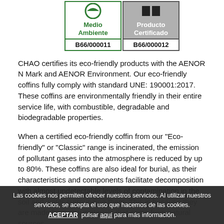[Figure (other): Two AENOR certification logos side by side. Left: green-bordered box with green text 'Medio Ambiente' and code 'B66/000011'. Right: gray-bordered/gray-background box with white text 'Producto Certificado' and code 'B66/000012'.]
CHAO certifies its eco-friendly products with the AENOR N Mark and AENOR Environment. Our eco-friendly coffins fully comply with standard UNE: 190001:2017. These coffins are environmentally friendly in their entire service life, with combustible, degradable and biodegradable properties.
When a certified eco-friendly coffin from our "Eco-friendly" or "Classic" range is incinerated, the emission of pollutant gases into the atmosphere is reduced by up to 80%. These coffins are also ideal for burial, as their characteristics and components facilitate decomposition with almost undetectable levels of contamination in the soil and water surrounding them. This is because they are made from raw materials that come from natural sources ...
Las cookies nos permiten ofrecer nuestros servicios. Al utilizar nuestros servicios, se acepta el uso que hacemos de las cookies. ACEPTAR  pulsar aquí para más información.